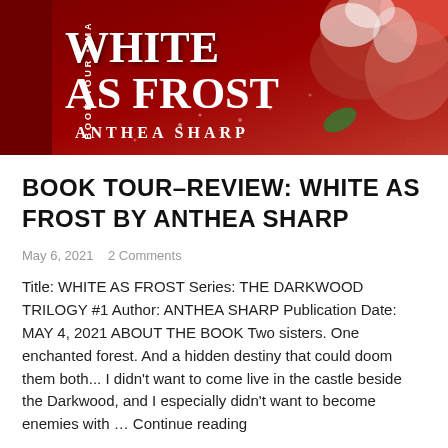[Figure (illustration): Book tour banner for 'White As Frost' by Anthea Sharp. Dark red and white banner with large serif title text 'WHITE AS FROST' and author name 'ANTHEA SHARP'. Left sidebar reads 'BOOK TOUR • MA...' vertically. Red and white roses decorate the right side.]
BOOK TOUR–REVIEW: WHITE AS FROST BY ANTHEA SHARP
May 6, 2021   2 Comments
Title: WHITE AS FROST Series: THE DARKWOOD TRILOGY #1 Author: ANTHEA SHARP Publication Date: MAY 4, 2021 ABOUT THE BOOK Two sisters. One enchanted forest. And a hidden destiny that could doom them both... I didn't want to come live in the castle beside the Darkwood, and I especially didn't want to become enemies with … Continue reading